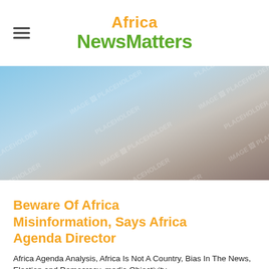Africa NewsMatters
[Figure (photo): Placeholder image with blurred landscape, sky gradient from blue to brownish tones, watermarked with 'IMAGE PLACEHOLDER' text repeated across the image.]
Beware Of Africa Misinformation, Says Africa Agenda Director
Africa Agenda Analysis, Africa Is Not A Country, Bias In The News, Election and Democracy, media Objectivity